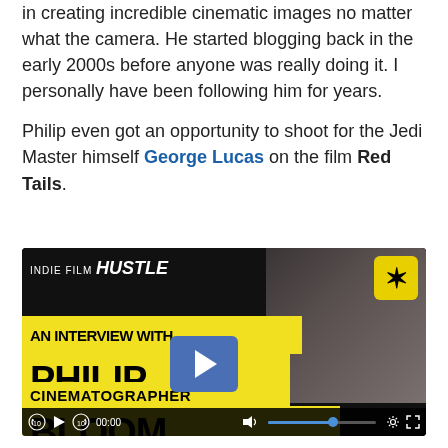in creating incredible cinematic images no matter what the camera. He started blogging back in the early 2000s before anyone was really doing it. I personally have been following him for years.

Philip even got an opportunity to shoot for the Jedi Master himself George Lucas on the film Red Tails.
[Figure (screenshot): Video thumbnail/player for 'An Interview With Philip Bloom - Cinematographer' from Indie Film Hustle. Shows a man operating a cinema camera on the right, with yellow and black text overlays on the left. A blue play button is centered. Below is a video control bar with play, skip, time (00:00), volume, progress bar, settings, and fullscreen icons.]